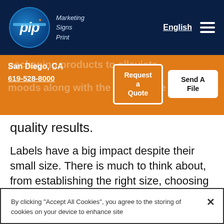[Figure (logo): PIP Marketing Signs Print logo — blue circular logo with 'pip' text and tagline, on dark navy header bar with 'English' link and hamburger menu]
San Diego, CA
619-528-8000
Request a Quote
Send A File
quality results.
Labels have a big impact despite their small size. There is much to think about, from establishing the right size, choosing configurations, whether it is permanent or repositionable adhesive, and durability considerations. We'll guide you through the
By clicking "Accept All Cookies", you agree to the storing of cookies on your device to enhance site